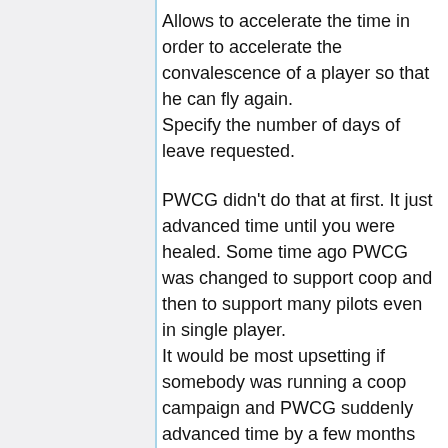Allows to accelerate the time in order to accelerate the convalescence of a player so that he can fly again.
Specify the number of days of leave requested.
PWCG didn't do that at first. It just advanced time until you were healed. Some time ago PWCG was changed to support coop and then to support many pilots even in single player.
It would be most upsetting if somebody was running a coop campaign and PWCG suddenly advanced time by a few months because one guy was seriously wounded.
This option ("Leave") therefore just makes it possible to advance the time if the player (s) wish it or simply let the [text continues]